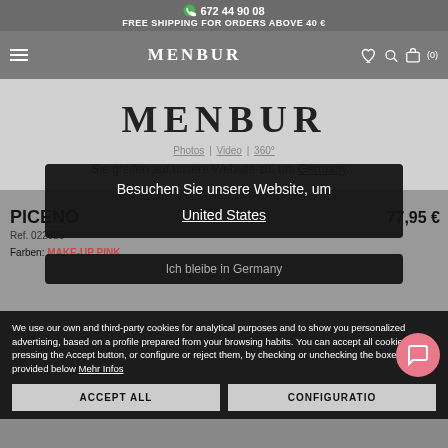672 44 90 08
FREE SHIPPING FOR ORDERS ABOVE 40 €
[Figure (logo): MENBUR navigation bar with hamburger menu, logo, and icons]
[Figure (logo): MENBUR large brand logo overlay]
Photos | Video | 360°
Sie greifen auf auf unsere Website zu, um Germany...
PICENO
Ref. 022325
77,95 €
Farben: MAKE-UP PINK
Besuchen Sie unsere Website, um United States
Ich bleibe in Germany
We use our own and third-party cookies for analytical purposes and to show you personalized advertising, based on a profile prepared from your browsing habits. You can accept all cookies by pressing the Accept button, or configure or reject them, by checking or unchecking the boxes provided below Mehr Infos
ACCEPT ALL
CONFIGURATION